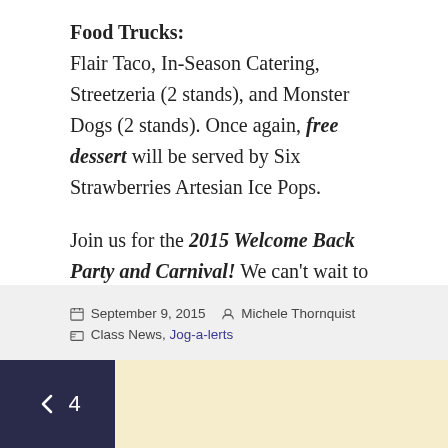Food Trucks:
Flair Taco, In-Season Catering, Streetzeria (2 stands), and Monster Dogs (2 stands). Once again, free dessert will be served by Six Strawberries Artesian Ice Pops.
Join us for the 2015 Welcome Back Party and Carnival! We can't wait to catch up with everyone and see how many kids are taller than their parents and teachers!
September 9, 2015  Michele Thornquist  Class News, Jog-a-lerts